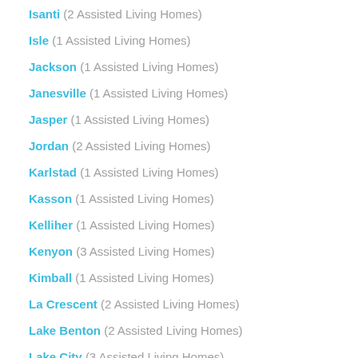Isanti  (2 Assisted Living Homes)
Isle  (1 Assisted Living Homes)
Jackson  (1 Assisted Living Homes)
Janesville  (1 Assisted Living Homes)
Jasper  (1 Assisted Living Homes)
Jordan  (2 Assisted Living Homes)
Karlstad  (1 Assisted Living Homes)
Kasson  (1 Assisted Living Homes)
Kelliher  (1 Assisted Living Homes)
Kenyon  (3 Assisted Living Homes)
Kimball  (1 Assisted Living Homes)
La Crescent  (2 Assisted Living Homes)
Lake Benton  (2 Assisted Living Homes)
Lake City  (3 Assisted Living Homes)